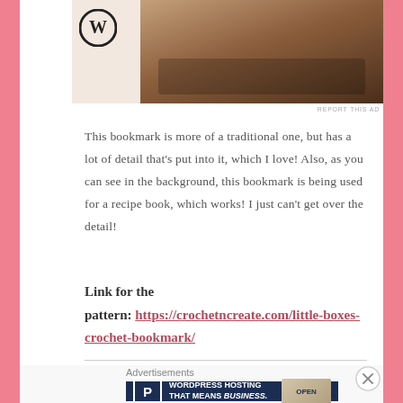[Figure (screenshot): Top portion of a webpage showing an advertisement banner with WordPress logo and a photo of hands on a laptop keyboard, with a 'REPORT THIS AD' label below.]
This bookmark is more of a traditional one, but has a lot of detail that's put into it, which I love! Also, as you can see in the background, this bookmark is being used for a recipe book, which works! I just can't get over the detail!
Link for the pattern: https://crochetncreate.com/little-boxes-crochet-bookmark/
[Figure (screenshot): Bottom advertisement banner showing WordPress hosting ad with 'P' logo, text 'WORDPRESS HOSTING THAT MEANS BUSINESS.' and an image of an OPEN sign, with a close (X) button, 'Advertisements' label, and 'REPORT THIS AD' text.]